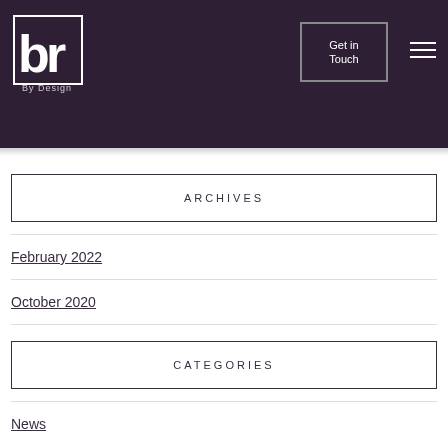br By Design — Get in Touch
ARCHIVES
February 2022
October 2020
CATEGORIES
News